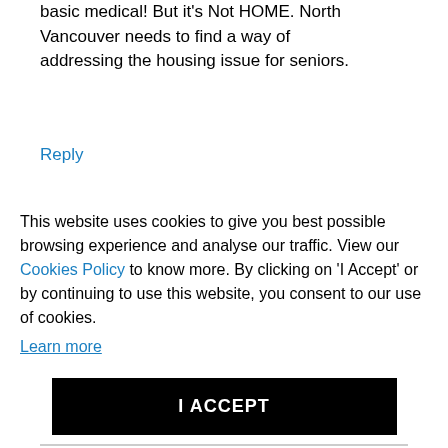basic medical! But it's Not HOME. North Vancouver needs to find a way of addressing the housing issue for seniors.
Reply
This website uses cookies to give you best possible browsing experience and analyse our traffic. View our Cookies Policy to know more. By clicking on 'I Accept' or by continuing to use this website, you consent to our use of cookies.
Learn more
I ACCEPT